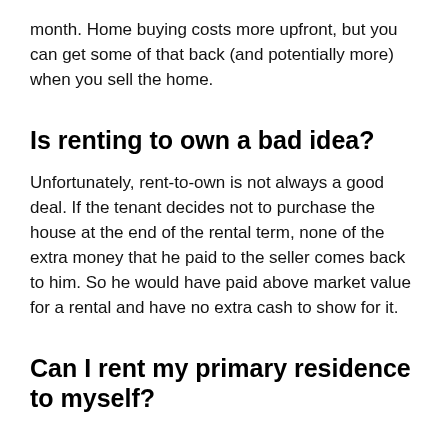month. Home buying costs more upfront, but you can get some of that back (and potentially more) when you sell the home.
Is renting to own a bad idea?
Unfortunately, rent-to-own is not always a good deal. If the tenant decides not to purchase the house at the end of the rental term, none of the extra money that he paid to the seller comes back to him. So he would have paid above market value for a rental and have no extra cash to show for it.
Can I rent my primary residence to myself?